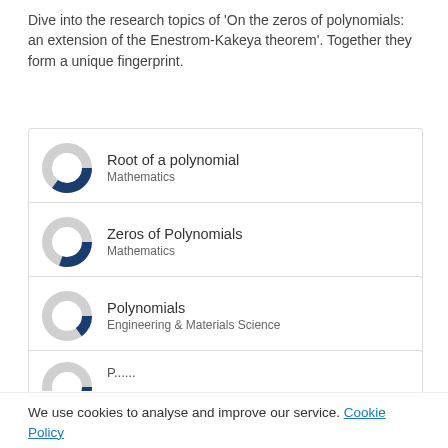Dive into the research topics of 'On the zeros of polynomials: an extension of the Enestrom-Kakeya theorem'. Together they form a unique fingerprint.
[Figure (infographic): Donut chart icon representing ~60% fill, next to 'Root of a polynomial' label with 'Mathematics' subtitle]
[Figure (infographic): Donut chart icon representing ~55% fill, next to 'Zeros of Polynomials' label with 'Mathematics' subtitle]
[Figure (infographic): Donut chart icon representing ~40% fill, next to 'Polynomials' label with 'Engineering & Materials Science' subtitle]
We use cookies to analyse and improve our service. Cookie Policy